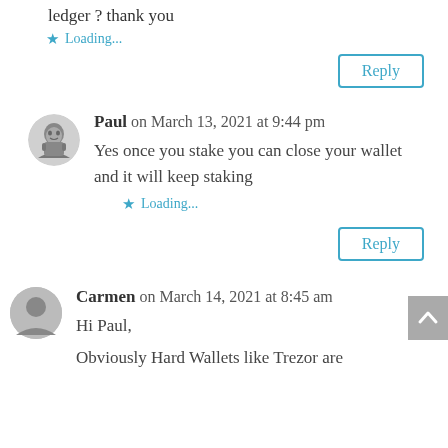ledger ? thank you
Loading...
Reply
Paul on March 13, 2021 at 9:44 pm
Yes once you stake you can close your wallet and it will keep staking
Loading...
Reply
Carmen on March 14, 2021 at 8:45 am
Hi Paul,
Obviously Hard Wallets like Trezor are